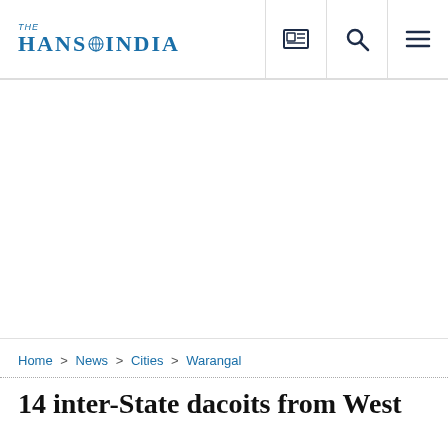THE HANS INDIA
[Figure (other): Advertisement / blank white space in the middle of the page]
Home > News > Cities > Warangal
14 inter-State dacoits from West